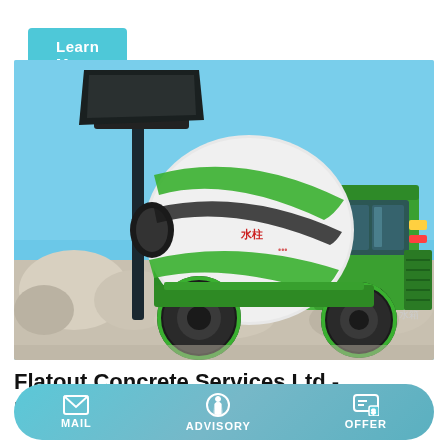Learn More
[Figure (photo): Green self-loading concrete mixer truck parked on a gravel/stone site with blue sky background. The truck is bright green with black accents, has a large rotating drum in the center, a loading arm at the front, and Chinese characters visible on the side.]
Flatout Concrete Services Ltd - P.Facebook.Com
MAIL  ADVISORY  OFFER